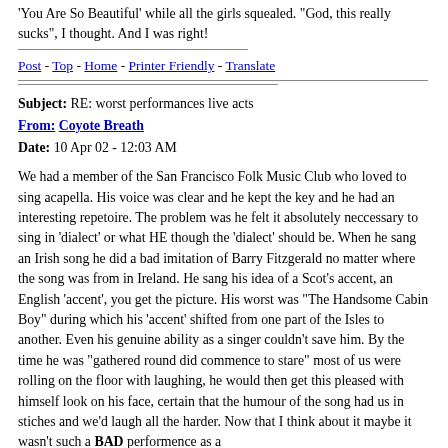'You Are So Beautiful' while all the girls squealed. "God, this really sucks", I thought. And I was right!
Post - Top - Home - Printer Friendly - Translate
Subject: RE: worst performances live acts
From: Coyote Breath
Date: 10 Apr 02 - 12:03 AM
We had a member of the San Francisco Folk Music Club who loved to sing acapella. His voice was clear and he kept the key and he had an interesting repetoire. The problem was he felt it absolutely neccessary to sing in 'dialect' or what HE though the 'dialect' should be. When he sang an Irish song he did a bad imitation of Barry Fitzgerald no matter where the song was from in Ireland. He sang his idea of a Scot's accent, an English 'accent', you get the picture. His worst was "The Handsome Cabin Boy" during which his 'accent' shifted from one part of the Isles to another. Even his genuine ability as a singer couldn't save him. By the time he was "gathered round did commence to stare" most of us were rolling on the floor with laughing, he would then get this pleased with himself look on his face, certain that the humour of the song had us in stiches and we'd laugh all the harder. Now that I think about it maybe it wasn't such a BAD performence as a